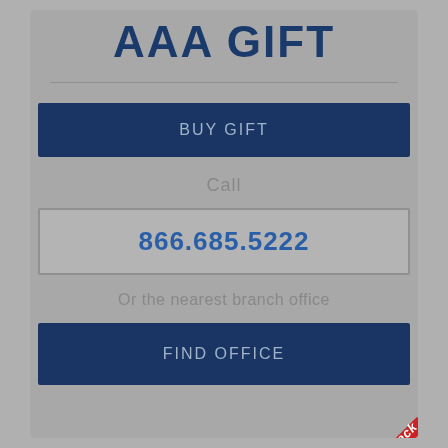AAA GIFT
BUY GIFT
Call
866.685.5222
Or the nearest branch office
FIND OFFICE